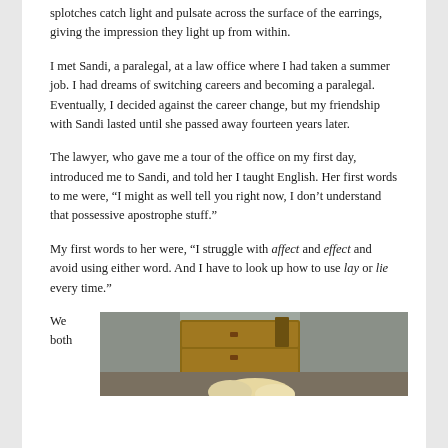splotches catch light and pulsate across the surface of the earrings, giving the impression they light up from within.
I met Sandi, a paralegal, at a law office where I had taken a summer job. I had dreams of switching careers and becoming a paralegal. Eventually, I decided against the career change, but my friendship with Sandi lasted until she passed away fourteen years later.
The lawyer, who gave me a tour of the office on my first day, introduced me to Sandi, and told her I taught English. Her first words to me were, “I might as well tell you right now, I don’t understand that possessive apostrophe stuff.”
My first words to her were, “I struggle with affect and effect and avoid using either word. And I have to look up how to use lay or lie every time.”
We both
[Figure (photo): Interior room photo showing a wooden cabinet or dresser and what appears to be a person with light/blonde hair, partially visible at bottom of frame.]